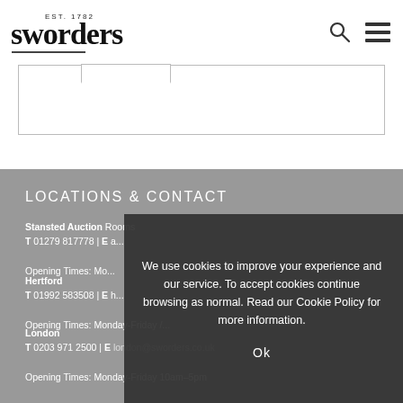sworders EST. 1782
LOCATIONS & CONTACT
Stansted Auction Rooms
T 01279 817778 | E ...
Opening Times: Mo...
Hertford
T 01992 583508 | E...
Opening Times: Monday-Friday/...
London
T 0203 971 2500 | E london@sworders.co.uk
Opening Times: Monday-Friday 10am-5pm
We use cookies to improve your experience and our service. To accept cookies continue browsing as normal. Read our Cookie Policy for more information.
Ok